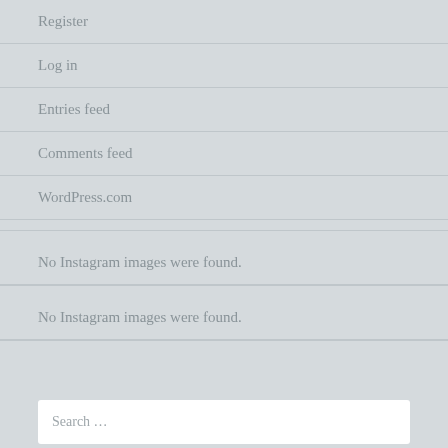Register
Log in
Entries feed
Comments feed
WordPress.com
No Instagram images were found.
No Instagram images were found.
Search ...